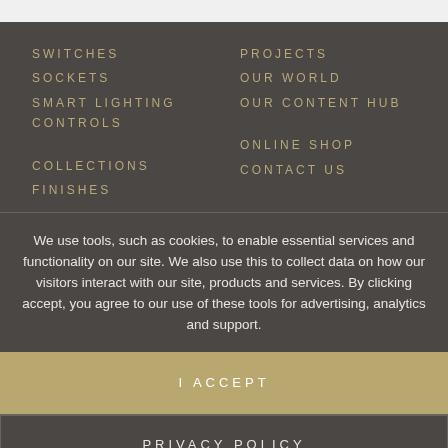SWITCHES
SOCKETS
SMART LIGHTING CONTROLS
COLLECTIONS
FINISHES
PROJECTS
OUR WORLD
OUR CONTENT HUB
ONLINE SHOP
CONTACT US
We use tools, such as cookies, to enable essential services and functionality on our site. We also use this to collect data on how our visitors interact with our site, products and services. By clicking accept, you agree to our use of these tools for advertising, analytics and support.
I ACCEPT
PRIVACY POLICY